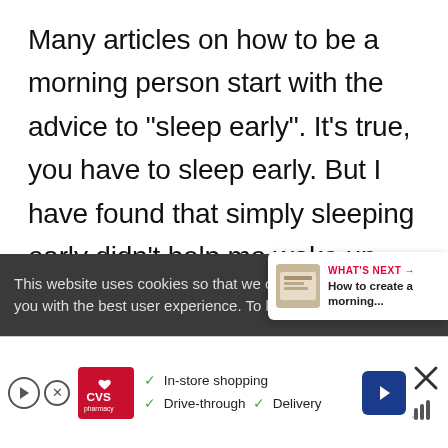Many articles on how to be a morning person start with the advice to "sleep early". It's true, you have to sleep early. But I have found that simply sleeping early didn't help me wake up early. I would "wake up" but not "get up" from the bed. I would lie there under my coz[y] blanket because I didn't know what to [do] once I was up.
This website uses cookies so that we ca[n provide] you with the best user experience. To know more,
[Figure (screenshot): CVS Pharmacy advertisement bar at the bottom of the page showing In-store shopping, Drive-through, and Delivery options with a blue navigation arrow icon]